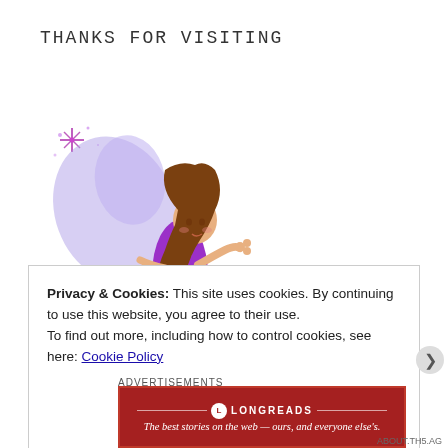THANKS FOR VISITING
[Figure (illustration): Pixel art fairy with purple wings and dress, brown hair, holding a magic wand with sparkles]
Privacy & Cookies: This site uses cookies. By continuing to use this website, you agree to their use.
To find out more, including how to control cookies, see here: Cookie Policy
Close and accept
ADVERTISEMENTS
[Figure (logo): Longreads banner: red background with logo and tagline 'The best stories on the web — ours, and everyone else's.']
ABOUT.TH5.AG